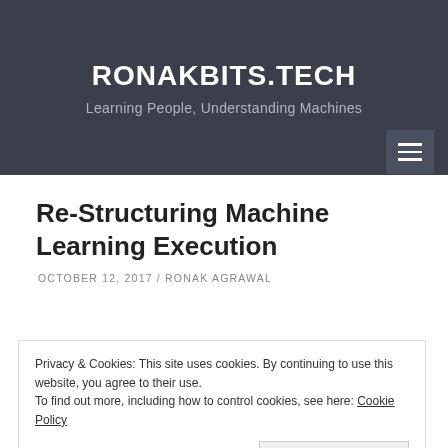RONAKBITS.TECH
Learning People, Understanding Machines
Re-Structuring Machine Learning Execution
OCTOBER 12, 2017 / RONAK AGRAWAL
Privacy & Cookies: This site uses cookies. By continuing to use this website, you agree to their use.
To find out more, including how to control cookies, see here: Cookie Policy
Close and accept